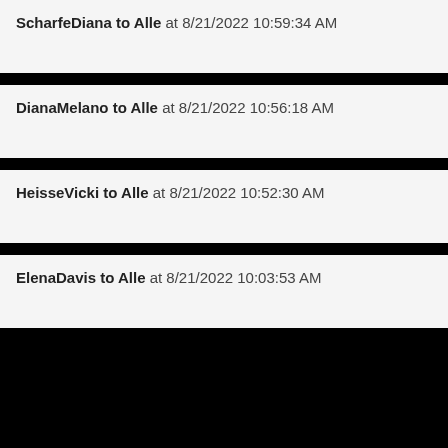ScharfeDiana to Alle at 8/21/2022 10:59:34 AM
DianaMelano to Alle at 8/21/2022 10:56:18 AM
HeisseVicki to Alle at 8/21/2022 10:52:30 AM
ElenaDavis to Alle at 8/21/2022 10:03:53 AM